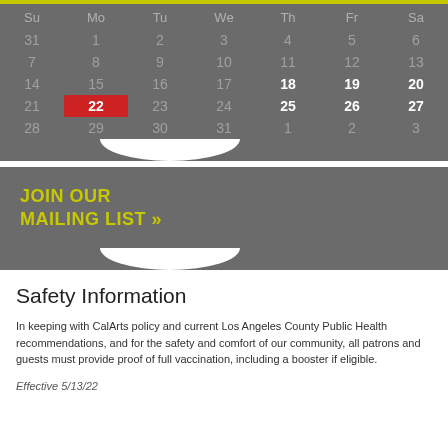[Figure (other): Monthly calendar grid on dark gray background with days Su Mo Tu We Th Fr Sa. Day 22 highlighted in red. Days 18, 19, 20, 25, 26, 27 in bold white.]
JOIN OUR MAILING LIST »
Safety Information
In keeping with CalArts policy and current Los Angeles County Public Health recommendations, and for the safety and comfort of our community, all patrons and guests must provide proof of full vaccination, including a booster if eligible.
Effective 5/13/22